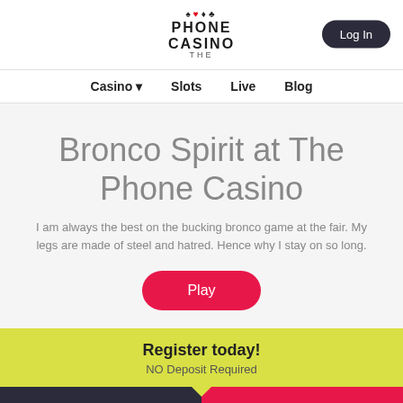[Figure (logo): The Phone Casino logo with card suits (spade, heart, diamond, club) above the text]
Log In
Casino  Slots  Live  Blog
Bronco Spirit at The Phone Casino
I am always the best on the bucking bronco game at the fair. My legs are made of steel and hatred. Hence why I stay on so long.
Play
Register today! NO Deposit Required
Login  Register